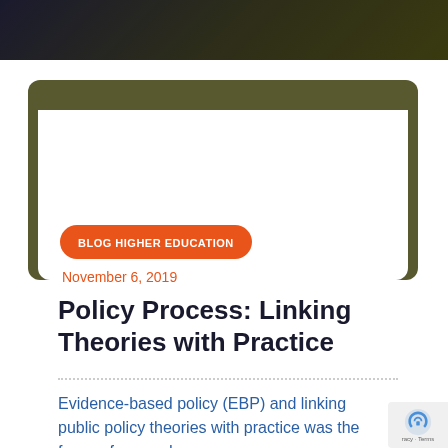BLOG HIGHER EDUCATION
November 6, 2019
Policy Process: Linking Theories with Practice
Evidence-based policy (EBP) and linking public policy theories with practice was the focus of a one-day